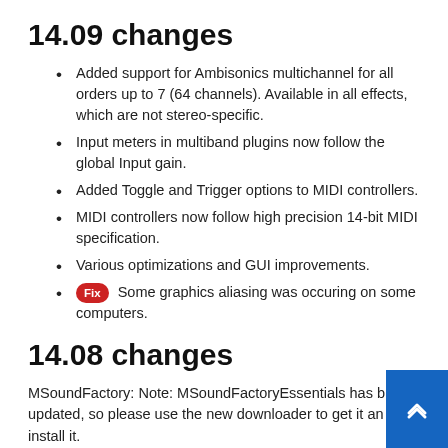14.09 changes
Added support for Ambisonics multichannel for all orders up to 7 (64 channels). Available in all effects, which are not stereo-specific.
Input meters in multiband plugins now follow the global Input gain.
Added Toggle and Trigger options to MIDI controllers.
MIDI controllers now follow high precision 14-bit MIDI specification.
Various optimizations and GUI improvements.
Fix Some graphics aliasing was occuring on some computers.
14.08 changes
MSoundFactory: Note: MSoundFactoryEssentials has been updated, so please use the new downloader to get it and install it.